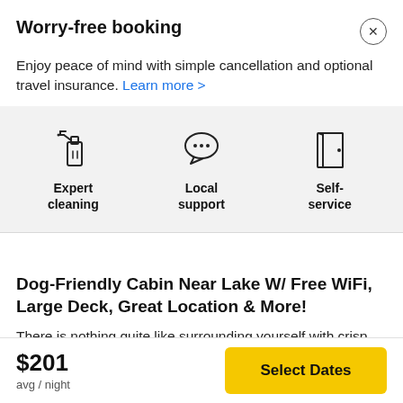Worry-free booking
Enjoy peace of mind with simple cancellation and optional travel insurance. Learn more >
[Figure (infographic): Three icons with labels: a spray bottle (Expert cleaning), a chat bubble (Local support), and a door (Self-service)]
Dog-Friendly Cabin Near Lake W/ Free WiFi, Large Deck, Great Location & More!
There is nothing quite like surrounding yourself with crisp mountain air and towering pines, so make your way
$201 avg / night
Select Dates